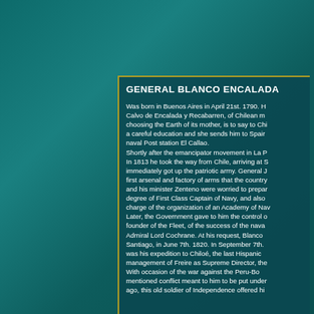GENERAL BLANCO ENCALADA
Was born in Buenos Aires in April 21st. 1790. H... Calvo de Encalada y Recabarren, of Chilean m... choosing the Earth of its mother, is to say to Chi... a careful education and she sends him to Spai... naval Post station El Callao. Shortly after the emancipator movement in La P... In 1813 he took the way from Chile, arriving at S... immediately got up the patriotic army. General J... first arsenal and factory of arms that the country... and his minister Zenteno were worried to prepar... degree of First Class Captain of Navy, and also ... charge of the organization of an Academy of Nav... Later, the Government gave to him the control o... founder of the Fleet, of the success of the nava... Admiral Lord Cochrane. At his request, Blanco... Santiago, in June 7th. 1820. In September 7th. ... was his expedition to Chiloé, the last Hispanic... management of Freire as Supreme Director, the... With occasion of the war against the Peru-Bo... mentioned conflict meant to him to be put under... ago, this old soldier of Independence offered hi...